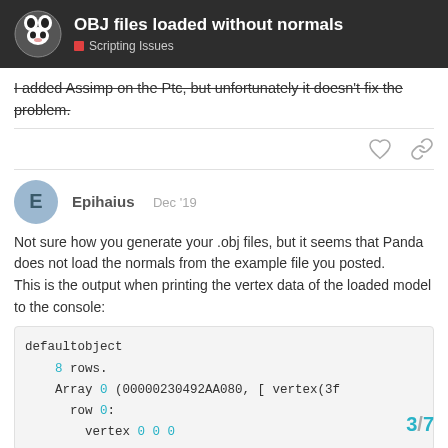OBJ files loaded without normals — Scripting Issues
I added Assimp on the Ptc, but unfortunately it doesn't fix the problem.
Epihaius  Dec '19
Not sure how you generate your .obj files, but it seems that Panda does not load the normals from the example file you posted.
This is the output when printing the vertex data of the loaded model to the console:
defaultobject
    8 rows.
    Array 0 (00000230492AA080, [ vertex(3f
        row 0:
            vertex 0 0 0
3 / 7